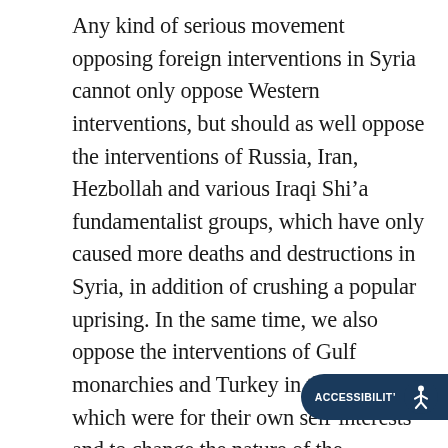Any kind of serious movement opposing foreign interventions in Syria cannot only oppose Western interventions, but should as well oppose the interventions of Russia, Iran, Hezbollah and various Iraqi Shi'a fundamentalist groups, which have only caused more deaths and destructions in Syria, in addition of crushing a popular uprising. In the same time, we also oppose the interventions of Gulf monarchies and Turkey in the past, which were for their own self-interests and to change the nature of the revolution into a sectarian war and they supported Islamic